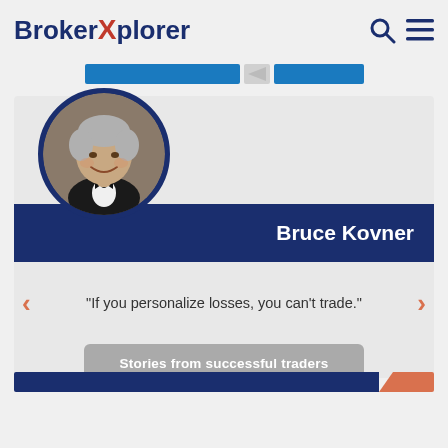BrokerXplorer
[Figure (photo): Circular portrait photo of Bruce Kovner, a smiling older man with gray hair wearing a black bow tie and tuxedo]
Bruce Kovner
"If you personalize losses, you can't trade."
Stories from successful traders